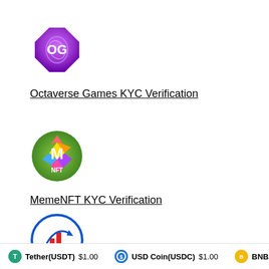[Figure (logo): Octaverse Games logo - purple octagon shape with 'OG' letters in white]
Octaverse Games KYC Verification
[Figure (logo): MemeNFT logo - circular logo with colorful gem/crystal pattern and 'M NFT' text]
MemeNFT KYC Verification
[Figure (logo): High Forex logo - circular logo with bar chart and arrow graphic, blue and red colors, highforex.com text]
Tether(USDT) $1.00   USD Coin(USDC) $1.00   BNB(BNB)